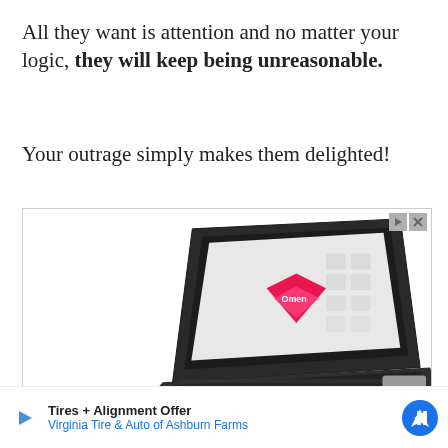All they want is attention and no matter your logic, they will keep being unreasonable.
Your outrage simply makes them delighted!
[Figure (photo): Advertisement showing an HP OMEN laptop open at an angle, with a colorful screen displaying the Omen logo, on a white background. Ad controls (play and close buttons) visible in the top right corner.]
Tires + Alignment Offer
Virginia Tire & Auto of Ashburn Farms